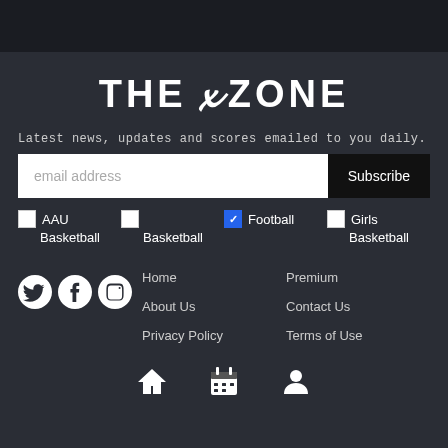THE D ZONE
Latest news, updates and scores emailed to you daily.
AAU Basketball
Basketball
Football
Girls Basketball
Home
Premium
About Us
Contact Us
Privacy Policy
Terms of Use